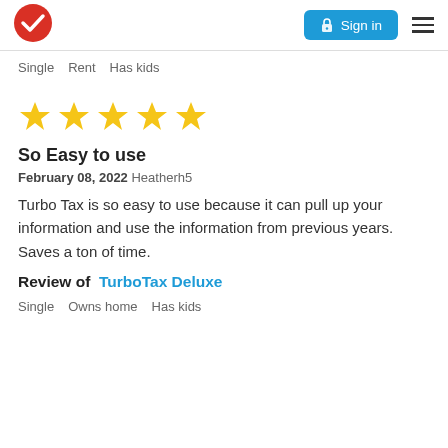Sign in
Single   Rent   Has kids
[Figure (other): Five gold star rating]
So Easy to use
February 08, 2022  Heatherh5
Turbo Tax is so easy to use because it can pull up your information and use the information from previous years. Saves a ton of time.
Review of  TurboTax Deluxe
Single   Owns home   Has kids